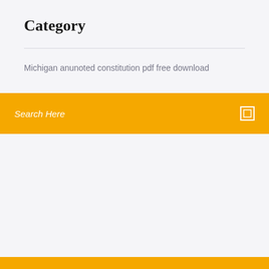Category
Michigan anunoted constitution pdf free download
Search Here
Color switch in app store download
Newsletter